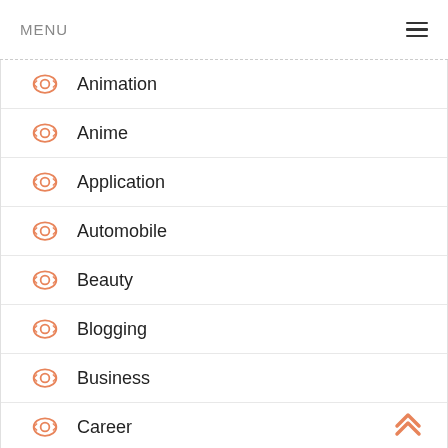MENU
Animation
Anime
Application
Automobile
Beauty
Blogging
Business
Career
Construction